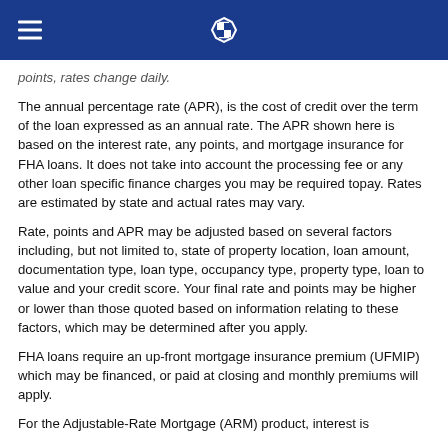Chase bank header with logo
points, rates change daily.
The annual percentage rate (APR), is the cost of credit over the term of the loan expressed as an annual rate. The APR shown here is based on the interest rate, any points, and mortgage insurance for FHA loans. It does not take into account the processing fee or any other loan specific finance charges you may be required topay. Rates are estimated by state and actual rates may vary.
Rate, points and APR may be adjusted based on several factors including, but not limited to, state of property location, loan amount, documentation type, loan type, occupancy type, property type, loan to value and your credit score. Your final rate and points may be higher or lower than those quoted based on information relating to these factors, which may be determined after you apply.
FHA loans require an up-front mortgage insurance premium (UFMIP) which may be financed, or paid at closing and monthly premiums will apply.
For the Adjustable-Rate Mortgage (ARM) product, interest is